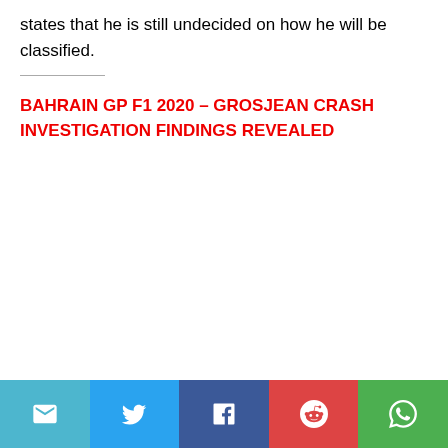states that he is still undecided on how he will be classified.
BAHRAIN GP F1 2020 – GROSJEAN CRASH INVESTIGATION FINDINGS REVEALED